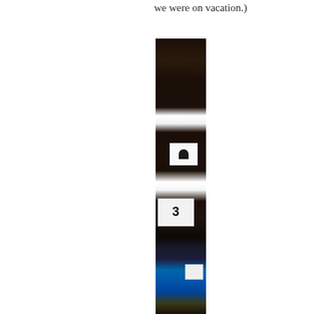we were on vacation.)
[Figure (photo): A dark, narrow vertical photograph showing what appears to be an indoor setting with dark wooden shelving or structure. Several white cards or signs with bold letters/numbers are visible hanging or placed at different heights. In the lower portion, a bright blue object (possibly a chair or bag) is visible. The image is predominantly dark/shadowed.]